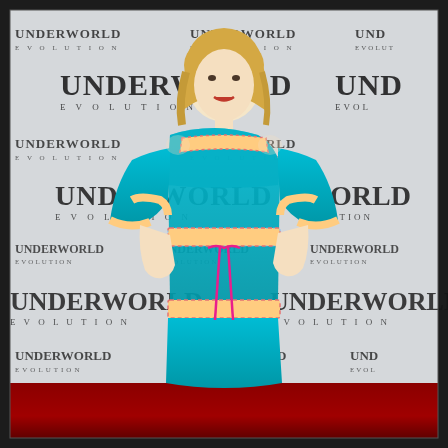[Figure (photo): A blonde woman wearing a turquoise blue crochet dress with colorful floral trim bands and a pink ribbon tie at the waist, posing on a red carpet in front of an 'Underworld Evolution' step-and-repeat backdrop. The backdrop features the 'UNDERWORLD EVOLUTION' logo text repeated in a grid pattern on a white/light gray background.]